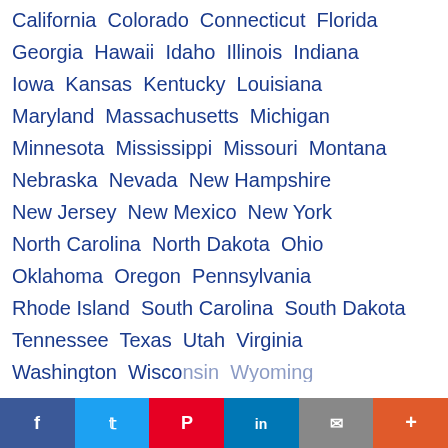California  Colorado  Connecticut  Florida
Georgia  Hawaii  Idaho  Illinois  Indiana
Iowa  Kansas  Kentucky  Louisiana
Maryland  Massachusetts  Michigan
Minnesota  Mississippi  Missouri  Montana
Nebraska  Nevada  New Hampshire
New Jersey  New Mexico  New York
North Carolina  North Dakota  Ohio
Oklahoma  Oregon  Pennsylvania
Rhode Island  South Carolina  South Dakota
Tennessee  Texas  Utah  Virginia
Washington  Wisconsin  Wyoming